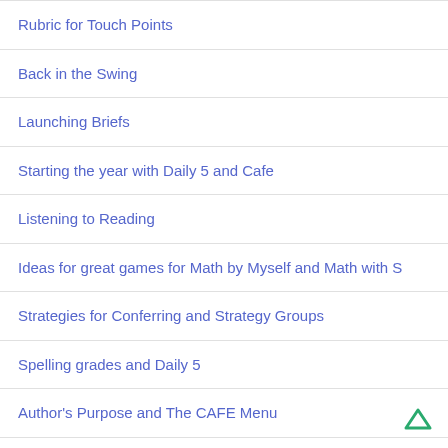Rubric for Touch Points
Back in the Swing
Launching Briefs
Starting the year with Daily 5 and Cafe
Listening to Reading
Ideas for great games for Math by Myself and Math with S…
Strategies for Conferring and Strategy Groups
Spelling grades and Daily 5
Author's Purpose and The CAFE Menu
What has worked for classes with multiple "barometer chil…
Limited Board Space to put a CAFE menu up? How I solve…